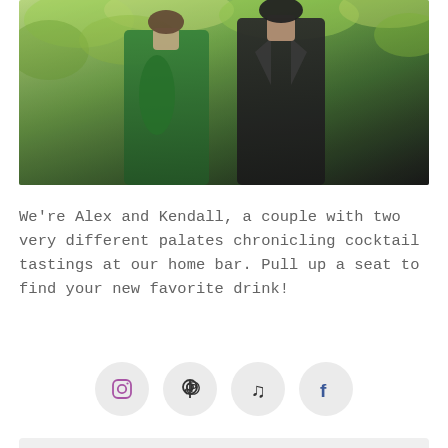[Figure (photo): Partial photo of two people (Alex and Kendall) outdoors with green foliage background. One person wearing a green jacket, the other in a dark suit.]
We're Alex and Kendall, a couple with two very different palates chronicling cocktail tastings at our home bar. Pull up a seat to find your new favorite drink!
[Figure (infographic): Four social media icon circles in a row: Instagram (purple outline), Pinterest (dark), music note (dark), Facebook (dark blue 'f').]
Get Our Recipes Sent To Your Inbox
FIRST NAME